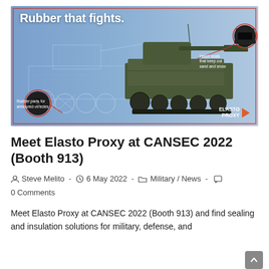[Figure (illustration): Elasto Proxy advertisement image showing a military armored vehicle (Stryker-type), half rendered as a wireframe blueprint and half as a real photograph. Red callout lines point to rubber components. Left callout: 'Rubber parts for armoured vehicles'. Right callout: 'Hatch seals that keep out sand and snow'. Title text at top: 'Rubber that fights.' ELASTO PROXY logo with orange arrow in bottom right.]
Meet Elasto Proxy at CANSEC 2022 (Booth 913)
Steve Melito  -  6 May 2022  -  Military / News  -  0 Comments
Meet Elasto Proxy at CANSEC 2022 (Booth 913) and find sealing and insulation solutions for military, defense, and